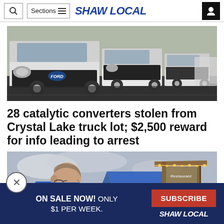Shaw Local - Sections menu, search, user account
[Figure (photo): Row of white Ford trucks parked in a lot, viewed from the front-left angle]
28 catalytic converters stolen from Crystal Lake truck lot; $2,500 reward for info leading to arrest
[Figure (photo): Man in blue shirt looking down at an outdoor market or event with string lights and a tent in the background]
ON SALE NOW! ONLY $1 PER WEEK. SUBSCRIBE SHAW LOCAL